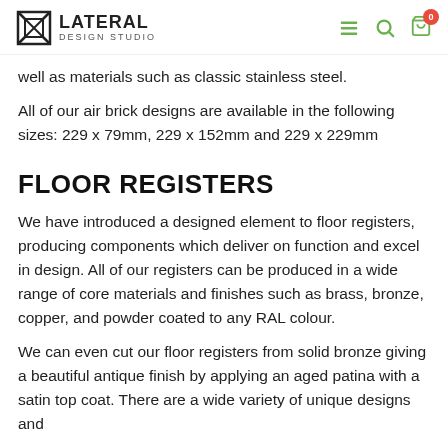LATERAL DESIGN STUDIO
well as materials such as classic stainless steel.
All of our air brick designs are available in the following sizes: 229 x 79mm, 229 x 152mm and 229 x 229mm
FLOOR REGISTERS
We have introduced a designed element to floor registers, producing components which deliver on function and excel in design. All of our registers can be produced in a wide range of core materials and finishes such as brass, bronze, copper, and powder coated to any RAL colour.
We can even cut our floor registers from solid bronze giving a beautiful antique finish by applying an aged patina with a satin top coat. There are a wide variety of unique designs and